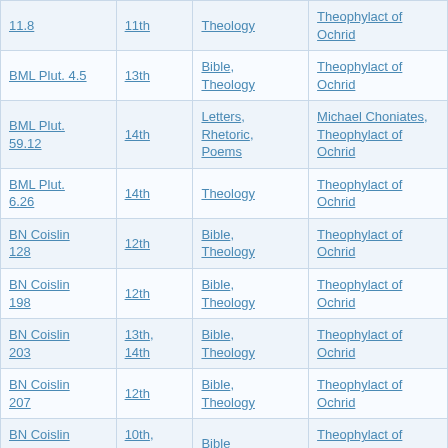| 11.8 | 11th | Theology | Theophylact of Ochrid |
| BML Plut. 4.5 | 13th | Bible, Theology | Theophylact of Ochrid |
| BML Plut. 59.12 | 14th | Letters, Rhetoric, Poems | Michael Choniates, Theophylact of Ochrid |
| BML Plut. 6.26 | 14th | Theology | Theophylact of Ochrid |
| BN Coislin 128 | 12th | Bible, Theology | Theophylact of Ochrid |
| BN Coislin 198 | 12th | Bible, Theology | Theophylact of Ochrid |
| BN Coislin 203 | 13th, 14th | Bible, Theology | Theophylact of Ochrid |
| BN Coislin 207 | 12th | Bible, Theology | Theophylact of Ochrid |
| BN Coislin 224 | 10th, 11th | Bible | Theophylact of Ochrid |
|  | 12th |  | John Chrysostom, |